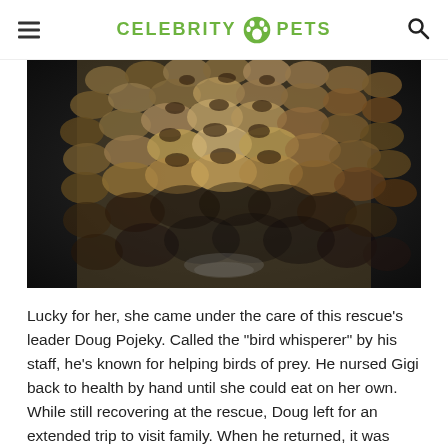CELEBRITY PETS
[Figure (photo): Close-up photo of an owl with patterned brown and cream feathers, wings partially spread, dark background]
Lucky for her, she came under the care of this rescue’s leader Doug Pojeky. Called the “bird whisperer” by his staff, he’s known for helping birds of prey. He nursed Gigi back to health by hand until she could eat on her own. While still recovering at the rescue, Doug left for an extended trip to visit family. When he returned, it was obvious that Gigi remembered her saviour. She hopped around with joy when she saw him. When he